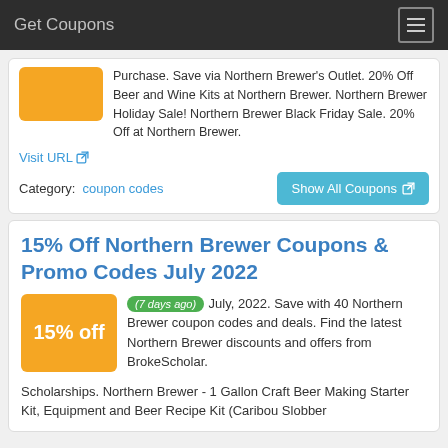Get Coupons
Purchase. Save via Northern Brewer's Outlet. 20% Off Beer and Wine Kits at Northern Brewer. Northern Brewer Holiday Sale! Northern Brewer Black Friday Sale. 20% Off at Northern Brewer.
Visit URL
Category: coupon codes
Show All Coupons
15% Off Northern Brewer Coupons & Promo Codes July 2022
(7 days ago) July, 2022. Save with 40 Northern Brewer coupon codes and deals. Find the latest Northern Brewer discounts and offers from BrokeScholar.
Scholarships. Northern Brewer - 1 Gallon Craft Beer Making Starter Kit, Equipment and Beer Recipe Kit (Caribou Slobber